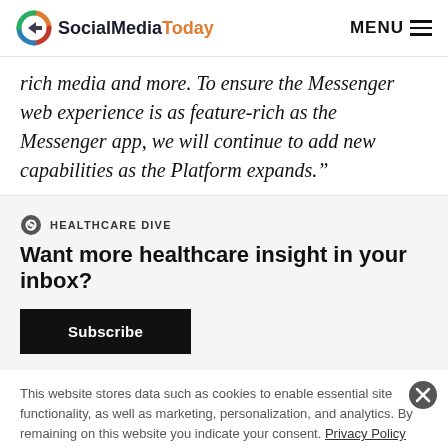SocialMediaToday  MENU
rich media and more. To ensure the Messenger web experience is as feature-rich as the Messenger app, we will continue to add new capabilities as the Platform expands.”
HEALTHCARE DIVE
Want more healthcare insight in your inbox?
Subscribe
This website stores data such as cookies to enable essential site functionality, as well as marketing, personalization, and analytics. By remaining on this website you indicate your consent. Privacy Policy